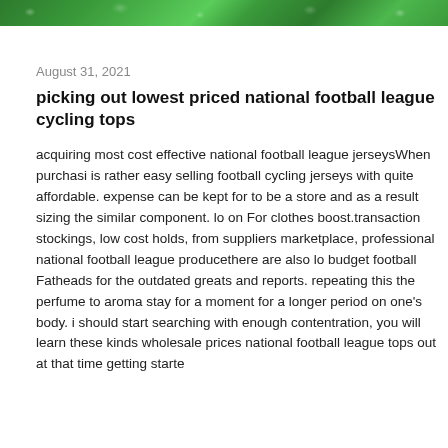[Figure (photo): Green leaves photo strip at the top of the page]
August 31, 2021
picking out lowest priced national football league cycling tops
acquiring most cost effective national football league jerseysWhen purchasi is rather easy selling football cycling jerseys with quite affordable. expense can be kept for to be a store and as a result sizing the similar component. lo on For clothes boost.transaction stockings, low cost holds, from suppliers marketplace, professional national football league producethere are also lo budget football Fatheads for the outdated greats and reports. repeating this the perfume to aroma stay for a moment for a longer period on one's body. i should start searching with enough contentration, you will learn these kinds wholesale prices national football league tops out at that time getting starte